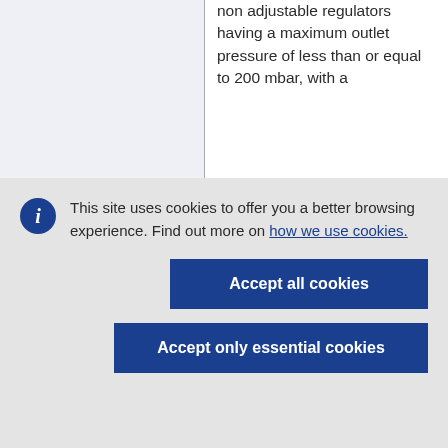non adjustable regulators having a maximum outlet pressure of less than or equal to 200 mbar, with a
This site uses cookies to offer you a better browsing experience. Find out more on how we use cookies.
Accept all cookies
Accept only essential cookies